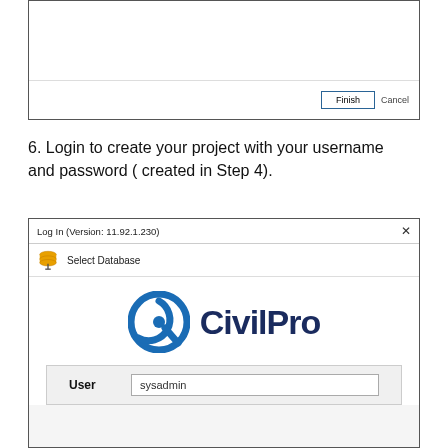[Figure (screenshot): Bottom portion of a wizard dialog with Finish and Cancel buttons]
6. Login to create your project with your username and password ( created in Step 4).
[Figure (screenshot): CivilPro application login dialog (Version: 11.92.1.230) showing Select Database toolbar, CivilPro logo, and User field with sysadmin entered]